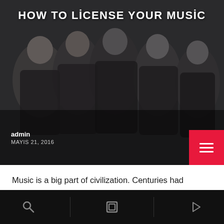[Figure (photo): Dark moody band photo of 4-5 men in black leather jackets against dark background, with blog post title overlay 'HOW TO LICENSE YOUR MUSIC']
HOW TO LICENSE YOUR MUSIC
admin
MAYIS 21, 2016
Music is a big part of civilization. Centuries had passed but music survived and even grew to greater heights every single decade. As a matter of fact, the demand of music has been rising very steadily in the past 10 years and it will continue that way in the foreseeable future. It comes along with [...]
[Figure (screenshot): Partial thumbnail strip at bottom showing FORMAT label and heart/like icon with count 0]